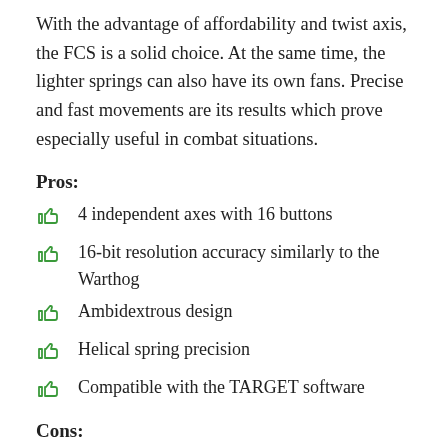With the advantage of affordability and twist axis, the FCS is a solid choice. At the same time, the lighter springs can also have its own fans. Precise and fast movements are its results which prove especially useful in combat situations.
Pros:
4 independent axes with 16 buttons
16-bit resolution accuracy similarly to the Warthog
Ambidextrous design
Helical spring precision
Compatible with the TARGET software
Cons: